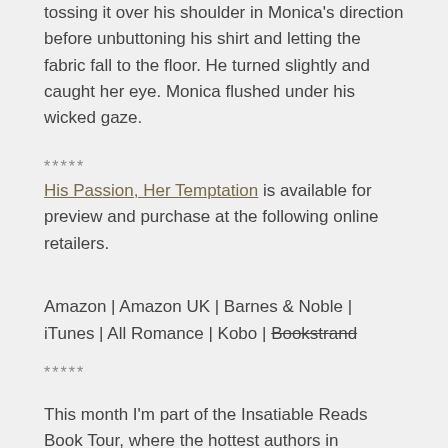tossing it over his shoulder in Monica's direction before unbuttoning his shirt and letting the fabric fall to the floor. He turned slightly and caught her eye. Monica flushed under his wicked gaze.
*****
His Passion, Her Temptation is available for preview and purchase at the following online retailers.
Amazon | Amazon UK | Barnes & Noble | iTunes | All Romance | Kobo | Bookstrand
*****
This month I'm part of the Insatiable Reads Book Tour, where the hottest authors in romance debut their